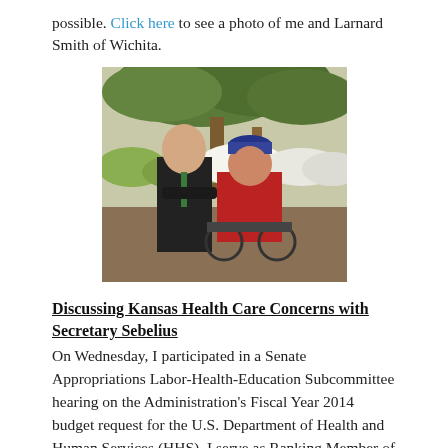possible. Click here to see a photo of me and Larnard Smith of Wichita.
[Figure (photo): Two men posing outdoors under trees. One man in a dark suit with green tie standing/leaning, another man in a red jacket and blue cap seated in a wheelchair. Greenery and parked cars visible in background.]
Discussing Kansas Health Care Concerns with Secretary Sebelius
On Wednesday, I participated in a Senate Appropriations Labor-Health-Education Subcommittee hearing on the Administration's Fiscal Year 2014 budget request for the U.S. Department of Health and Human Services (HHS). I serve as Ranking Member of this